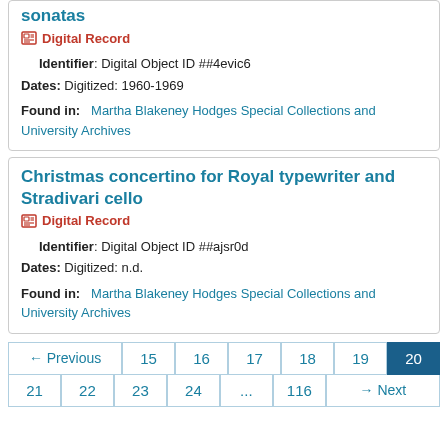sonatas
Digital Record
Identifier: Digital Object ID ##4evic6
Dates: Digitized: 1960-1969
Found in: Martha Blakeney Hodges Special Collections and University Archives
Christmas concertino for Royal typewriter and Stradivari cello
Digital Record
Identifier: Digital Object ID ##ajsr0d
Dates: Digitized: n.d.
Found in: Martha Blakeney Hodges Special Collections and University Archives
← Previous  15  16  17  18  19  20  21  22  23  24  ...  116  → Next